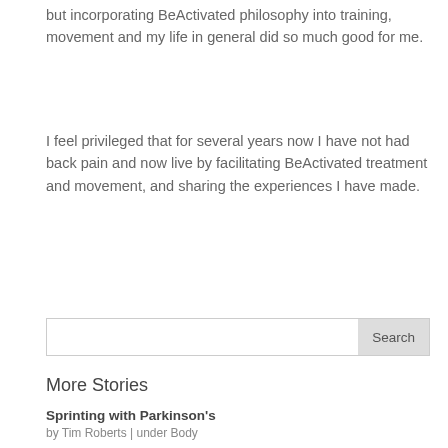but incorporating BeActivated philosophy into training, movement and my life in general did so much good for me.
I feel privileged that for several years now I have not had back pain and now live by facilitating BeActivated treatment and movement, and sharing the experiences I have made.
More Stories
Sprinting with Parkinson's
by Tim Roberts | under Body
Walking steady. 5 year old with Kabuki Syndrome
by Sarahsummers | under Body , Dysfunction , Life , Mind
From hate to love